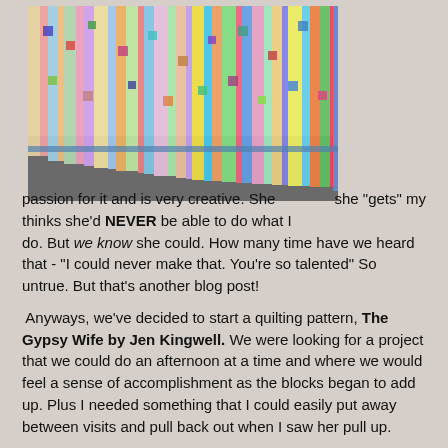[Figure (photo): Colorful quilt with vertical stripes and patchwork squares in many bright colors, photographed on a gray surface]
she "gets" my passion for it and is very creative. She thinks she'd NEVER be able to do what I do. But we know she could. How many time have we heard that - "I could never make that. You're so talented" So untrue. But that's another blog post!

 Anyways, we've decided to start a quilting pattern, The Gypsy Wife by Jen Kingwell. We were looking for a project that we could do an afternoon at a time and where we would feel a sense of accomplishment as the blocks began to add up. Plus I needed something that I could easily put away between visits and pull back out when I saw her pull up.

So how do you quilt with a NQF (a non-quilting friend...grin)? First you chose the pattern together that's hard enough to be